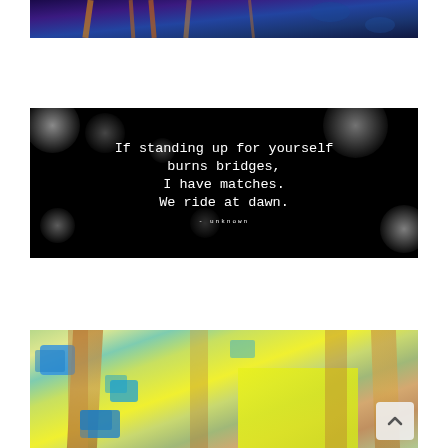[Figure (illustration): Top portion of an abstract dark blue and purple painting with orange vertical streaks, partially visible at the top of the page]
[Figure (illustration): Black background image with soft white bokeh circles and white typewriter-font text reading: 'If standing up for yourself burns bridges, I have matches. We ride at dawn.' attributed to 'unknown']
[Figure (illustration): Colorful abstract painting with blue, green, yellow-green, orange-brown vertical forms against a bright yellow-green background, with a small scroll-to-top button in the lower right corner]